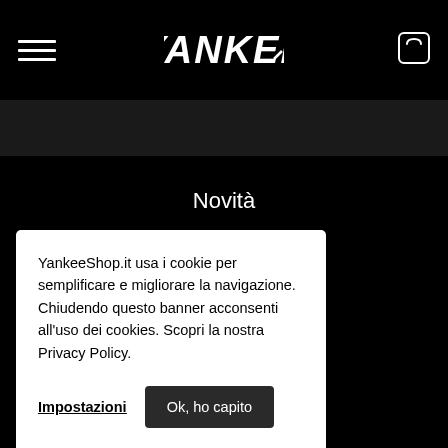[Figure (logo): Yankee brand logo in stylized graffiti/italic font, white on black background]
Novità
Abbigliamento
Accessori
YankeeShop.it usa i cookie per semplificare e migliorare la navigazione. Chiudendo questo banner acconsenti all'uso dei cookies. Scopri la nostra Privacy Policy.
Impostazioni
Ok, ho capito